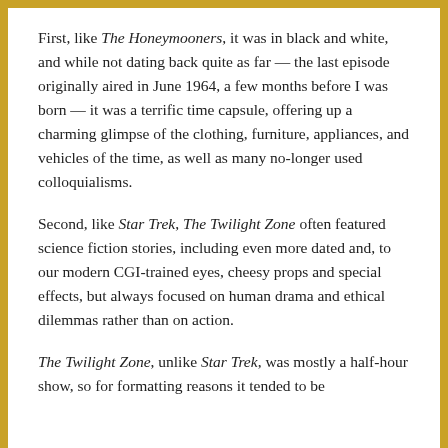First, like The Honeymooners, it was in black and white, and while not dating back quite as far — the last episode originally aired in June 1964, a few months before I was born — it was a terrific time capsule, offering up a charming glimpse of the clothing, furniture, appliances, and vehicles of the time, as well as many no-longer used colloquialisms.
Second, like Star Trek, The Twilight Zone often featured science fiction stories, including even more dated and, to our modern CGI-trained eyes, cheesy props and special effects, but always focused on human drama and ethical dilemmas rather than on action.
The Twilight Zone, unlike Star Trek, was mostly a half-hour show, so for formatting reasons it tended to be...